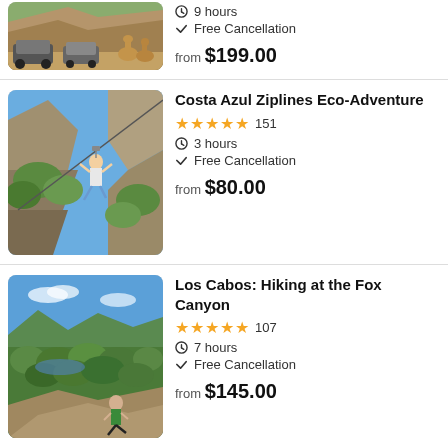[Figure (photo): Top of page: partial view of ATV/UTV vehicles and camels on a dirt road with rocky cliffs. Only bottom portion visible.]
9 hours | Free Cancellation | from $199.00
[Figure (photo): Person zip-lining over a canyon with rocky cliffs and green vegetation — Costa Azul Ziplines Eco-Adventure]
Costa Azul Ziplines Eco-Adventure
★★★★★ 151 | 3 hours | Free Cancellation | from $80.00
[Figure (photo): Woman sitting on a rock overlooking a lush green canyon with a lake — Los Cabos: Hiking at the Fox Canyon]
Los Cabos: Hiking at the Fox Canyon
★★★★★ 107 | 7 hours | Free Cancellation | from $145.00